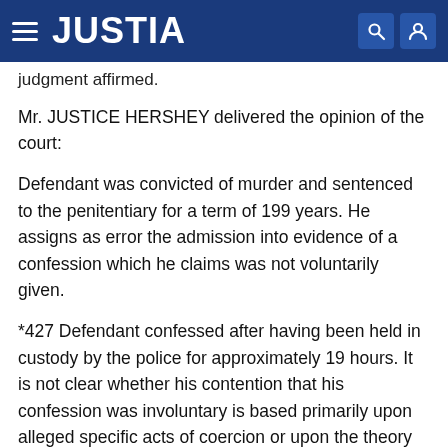JUSTIA
judgment affirmed.
Mr. JUSTICE HERSHEY delivered the opinion of the court:
Defendant was convicted of murder and sentenced to the penitentiary for a term of 199 years. He assigns as error the admission into evidence of a confession which he claims was not voluntarily given.
*427 Defendant confessed after having been held in custody by the police for approximately 19 hours. It is not clear whether his contention that his confession was involuntary is based primarily upon alleged specific acts of coercion or upon the theory that the questioning to which he was subjected during the period of detention was of itself sufficiently coercive as to render his confession involuntary. The testimony at the hearing on defendant's motion to suppress the confession shows